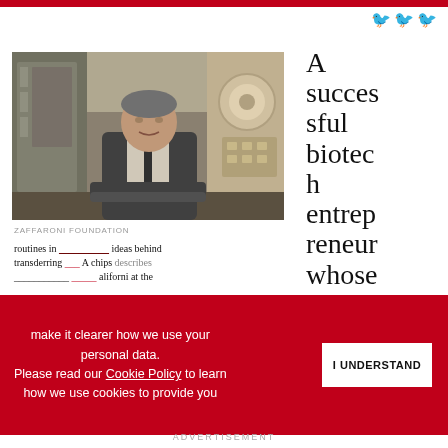[Figure (photo): Black and white or sepia photo of an older man in a business suit sitting in front of large industrial printing or manufacturing machinery.]
ZAFFARONI FOUNDATION
A successful biotech entrepreneur whose
make it clearer how we use your personal data.
Please read our Cookie Policy to learn how we use cookies to provide you
I UNDERSTAND
ADVERTISEMENT